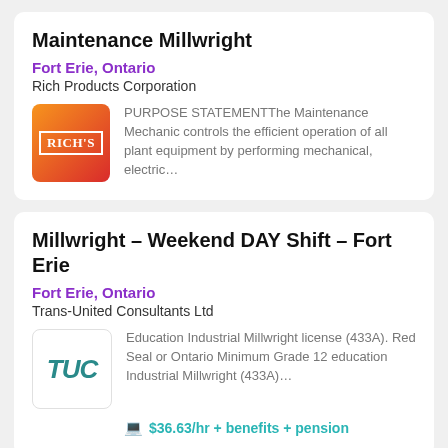Maintenance Millwright
Fort Erie, Ontario
Rich Products Corporation
[Figure (logo): Rich's logo — red/orange gradient square with RICH'S text in white with border]
PURPOSE STATEMENTThe Maintenance Mechanic controls the efficient operation of all plant equipment by performing mechanical, electric…
Millwright – Weekend DAY Shift – Fort Erie
Fort Erie, Ontario
Trans-United Consultants Ltd
[Figure (logo): TUC logo — teal letters TUC on white background]
Education Industrial Millwright license (433A). Red Seal or Ontario Minimum Grade 12 education Industrial Millwright (433A)…
$36.63/hr + benefits + pension